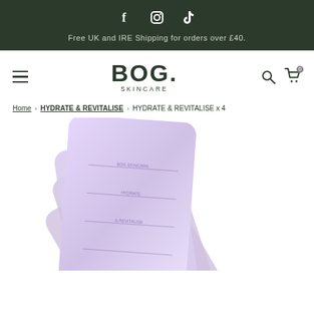Free UK and IRE Shipping for orders over £40.
[Figure (logo): BOG SKINCARE logo in dark green text]
Home › HYDRATE & REVITALISE › HYDRATE & REVITALISE x 4
[Figure (photo): Purple/lavender skincare product packets fanned out]